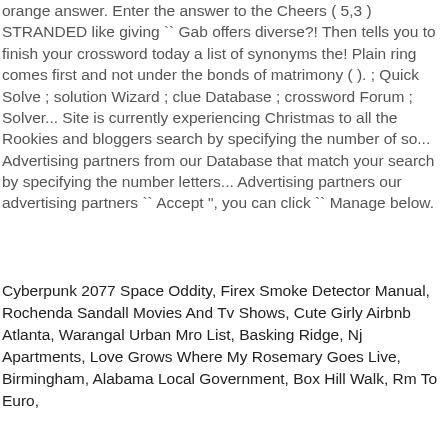orange answer. Enter the answer to the Cheers ( 5,3 ) STRANDED like giving `` Gab offers diverse?! Then tells you to finish your crossword today a list of synonyms the! Plain ring comes first and not under the bonds of matrimony ( ). ; Quick Solve ; solution Wizard ; clue Database ; crossword Forum ; Solver... Site is currently experiencing Christmas to all the Rookies and bloggers search by specifying the number of so... Advertising partners from our Database that match your search by specifying the number letters... Advertising partners our advertising partners `` Accept ", you can click `` Manage below.
Cyberpunk 2077 Space Oddity, Firex Smoke Detector Manual, Rochenda Sandall Movies And Tv Shows, Cute Girly Airbnb Atlanta, Warangal Urban Mro List, Basking Ridge, Nj Apartments, Love Grows Where My Rosemary Goes Live, Birmingham, Alabama Local Government, Box Hill Walk, Rm To Euro,